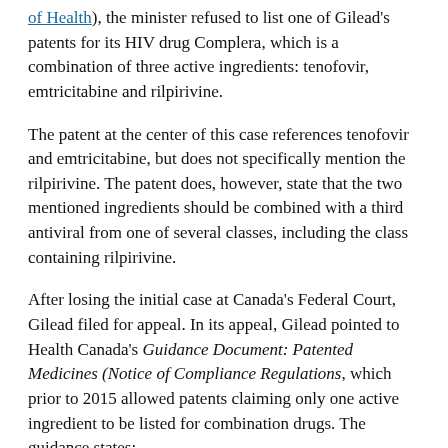of Health), the minister refused to list one of Gilead's patents for its HIV drug Complera, which is a combination of three active ingredients: tenofovir, emtricitabine and rilpirivine.
The patent at the center of this case references tenofovir and emtricitabine, but does not specifically mention the rilpirivine. The patent does, however, state that the two mentioned ingredients should be combined with a third antiviral from one of several classes, including the class containing rilpirivine.
After losing the initial case at Canada's Federal Court, Gilead filed for appeal. In its appeal, Gilead pointed to Health Canada's Guidance Document: Patented Medicines (Notice of Compliance Regulations, which prior to 2015 allowed patents claiming only one active ingredient to be listed for combination drugs. The guidance states:
"However, a patent claiming, as a compound, a single medicinal ingredient…"